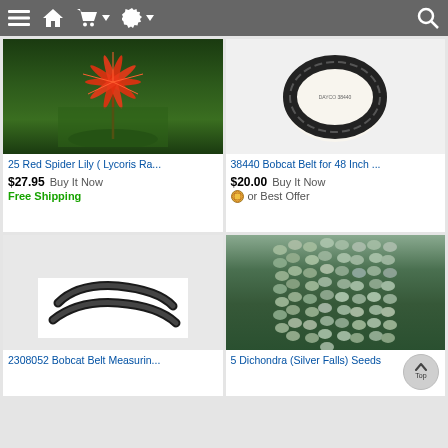[Figure (screenshot): Mobile e-commerce listing page (eBay-style) showing a toolbar with navigation icons and a 2-column grid of product listings: 25 Red Spider Lily, 38440 Bobcat Belt, 2308052 Bobcat Belt, and 5 Dichondra Silver Falls Seeds.]
25 Red Spider Lily ( Lycoris Ra...
$27.95  Buy It Now
Free Shipping
38440 Bobcat Belt for 48 Inch ...
$20.00  Buy It Now
or Best Offer
2308052 Bobcat Belt Measurin...
5 Dichondra (Silver Falls) Seeds